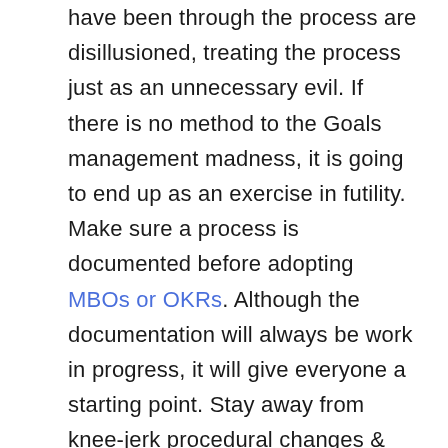have been through the process are disillusioned, treating the process just as an unnecessary evil. If there is no method to the Goals management madness, it is going to end up as an exercise in futility. Make sure a process is documented before adopting MBOs or OKRs. Although the documentation will always be work in progress, it will give everyone a starting point. Stay away from knee-jerk procedural changes & make sure that the goals management process is constantly bettered.
One of the major pain points in executing a